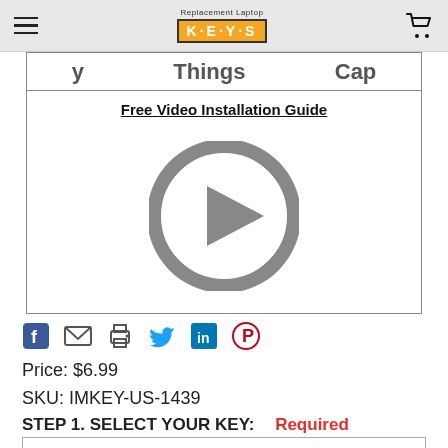Replacement Laptop KEYS [logo] [hamburger menu] [cart icon]
y   Things   Cap
Free Video Installation Guide
[Figure (other): Video player placeholder with a large gray play button circle]
[Figure (other): Social sharing icons: Facebook, Email, Print, Twitter, LinkedIn, Pinterest]
Price: $6.99
SKU: IMKEY-US-1439
STEP 1. SELECT YOUR KEY:  Required